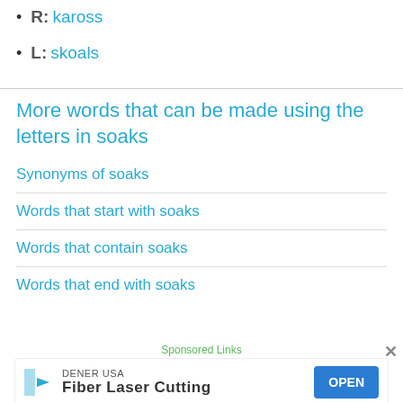R: kaross
L: skoals
More words that can be made using the letters in soaks
Synonyms of soaks
Words that start with soaks
Words that contain soaks
Words that end with soaks
Sponsored Links
[Figure (other): Advertisement banner: DENER USA - Fiber Laser Cutting with OPEN button]